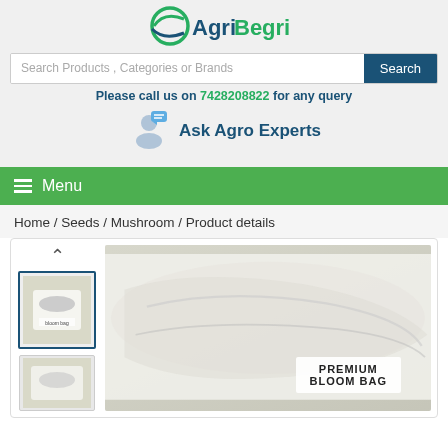[Figure (logo): AgriBegri logo with green leaf/wave graphic and blue/green text]
Search Products , Categories or Brands
Please call us on 7428208822 for any query
[Figure (illustration): Ask Agro Experts icon with person and chat bubble]
Ask Agro Experts
Menu
Home / Seeds / Mushroom / Product details
[Figure (photo): Product thumbnail image of mushroom bloom bag]
[Figure (photo): Main product image of Premium Bloom Bag mushroom growing kit, white mycelium filled bag with label reading PREMIUM BLOOM BAG]